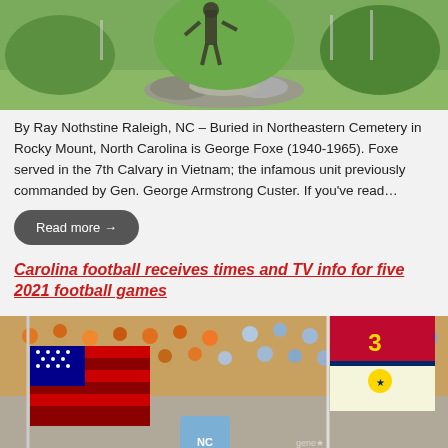[Figure (photo): Outdoor photo showing what appears to be a bronze statue or figure among green vegetation and rocks]
By Ray Nothstine Raleigh, NC – Buried in Northeastern Cemetery in Rocky Mount, North Carolina is George Foxe (1940-1965). Foxe served in the 7th Calvary in Vietnam; the infamous unit previously commanded by Gen. George Armstrong Custer. If you've read…
Read more →
Carolina football receives times and TV info for five 2021 football games
[Figure (photo): Stadium crowd scene with American flag and North Carolina state flag being waved, with crowd of fans wearing orange and blue in the background]